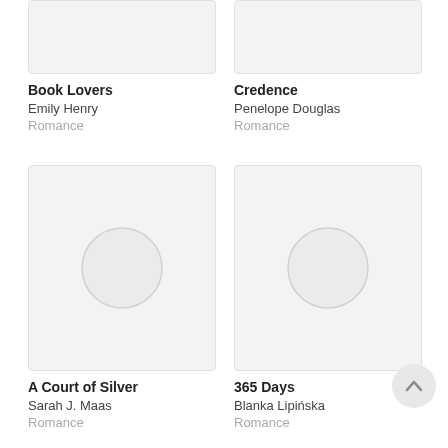[Figure (illustration): Book cover placeholder for Book Lovers (top, partially cropped)]
[Figure (illustration): Book cover placeholder for Credence (top, partially cropped)]
Book Lovers
Emily Henry
Romance
Credence
Penelope Douglas
Romance
[Figure (illustration): Book cover placeholder with circle icon for A Court of Silver]
[Figure (illustration): Book cover placeholder with circle icon for 365 Days]
A Court of Silver
Sarah J. Maas
Romance
365 Days
Blanka Lipińska
Romance
[Figure (illustration): Book cover placeholder (bottom, partially cropped)]
[Figure (illustration): Book cover placeholder (bottom, partially cropped)]